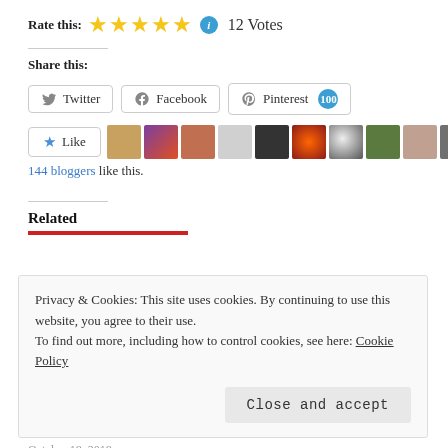Rate this: ★★★★★ ℹ 12 Votes
Share this:
[Figure (infographic): Social share buttons: Twitter, Facebook, Pinterest (100)]
[Figure (infographic): Like button and 10 blogger avatar thumbnails]
144 bloggers like this.
Related
Privacy & Cookies: This site uses cookies. By continuing to use this website, you agree to their use.
To find out more, including how to control cookies, see here: Cookie Policy
Close and accept
October 18, 2018